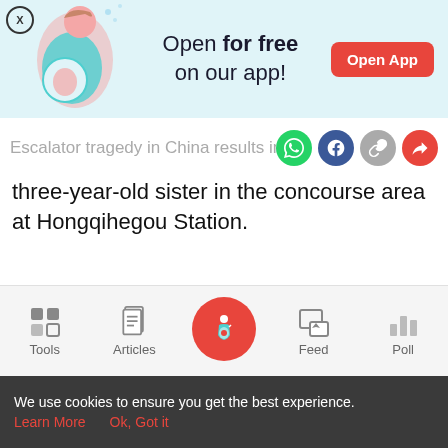[Figure (screenshot): App banner advertisement with illustration of pregnant woman, text 'Open for free on our app!' and a red 'Open App' button]
Escalator tragedy in China results in t
three-year-old sister in the concourse area at Hongqihegou Station.

They were playing unattended as their mother had gone to the toilet, say reports. According to the BBC report, the boy's chest got “wedged between the bottom of the handrail and the ground.” When he screamed, his mother rushed
[Figure (screenshot): Mobile app bottom navigation bar with Tools, Articles, Home (pregnant lady icon), Feed, and Poll icons]
We use cookies to ensure you get the best experience.
Learn More   Ok, Got it